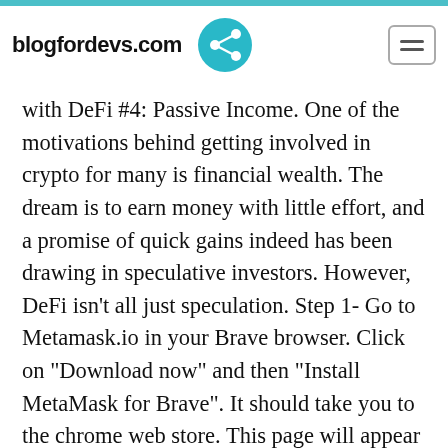blogfordevs.com
with DeFi #4: Passive Income. One of the motivations behind getting involved in crypto for many is financial wealth. The dream is to earn money with little effort, and a promise of quick gains indeed has been drawing in speculative investors. However, DeFi isn't all just speculation. Step 1- Go to Metamask.io in your Brave browser. Click on "Download now" and then "Install MetaMask for Brave". It should take you to the chrome web store. This page will appear as shown in the picture below. Step 2- Once you get to the chrome web store, click the "Add to Brave" link. This will open a popup in your browser to...